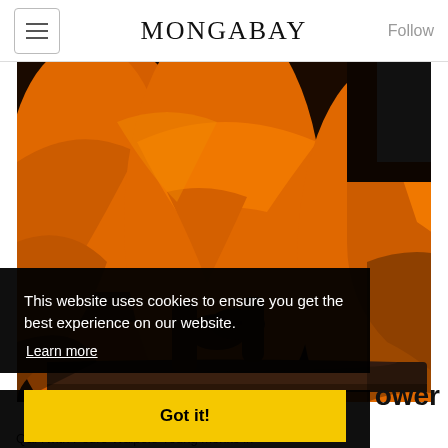MONGABAY
[Figure (photo): Buddhist monks in orange robes sitting at a table, viewed from torso down, showing hands and robes]
This website uses cookies to ensure you get the best experience on our website.
Learn more
Got it!
ower
Q&A with Pedro Walpole Young monks in